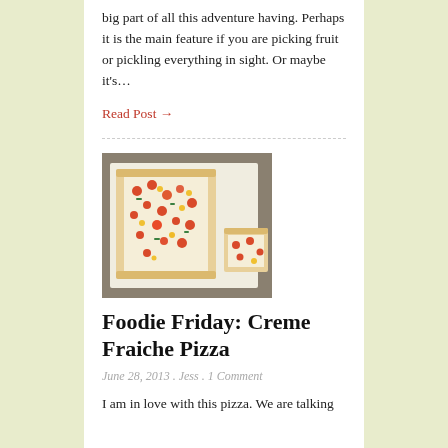big part of all this adventure having. Perhaps it is the main feature if you are picking fruit or pickling everything in sight. Or maybe it's…
Read Post →
[Figure (photo): A rectangular flatbread pizza topped with cherry tomatoes, corn, herbs, and cheese, placed on parchment paper on a baking sheet. A square slice is cut from the corner.]
Foodie Friday: Creme Fraiche Pizza
June 28, 2013 . Jess . 1 Comment
I am in love with this pizza. We are talking